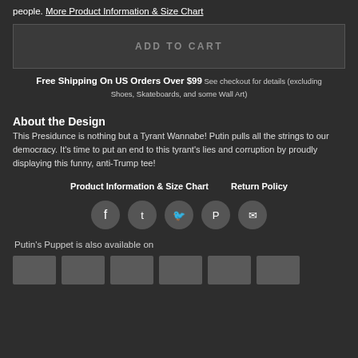people. More Product Information & Size Chart
ADD TO CART
Free Shipping On US Orders Over $99 See checkout for details (excluding Shoes, Skateboards, and some Wall Art)
About the Design
This Presidunce is nothing but a Tyrant Wannabe! Putin pulls all the strings to our democracy. It's time to put an end to this tyrant's lies and corruption by proudly displaying this funny, anti-Trump tee!
Product Information & Size Chart   Return Policy
[Figure (infographic): Social share icons: Facebook, Tumblr, Twitter, Pinterest, Email]
Putin's Puppet is also available on
[Figure (infographic): Row of product thumbnail boxes]